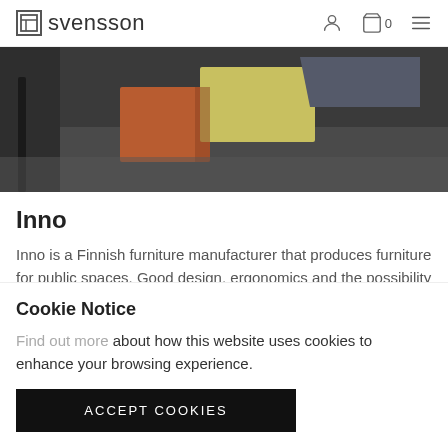svensson
[Figure (photo): Close-up photo of colorful stacked furniture panels/blocks on a dark surface — orange, yellow, grey tones]
Inno
Inno is a Finnish furniture manufacturer that produces furniture for public spaces. Good design, ergonomics and the possibility of individual adjustments are Inno's
Cookie Notice
Find out more about how this website uses cookies to enhance your browsing experience.
ACCEPT COOKIES